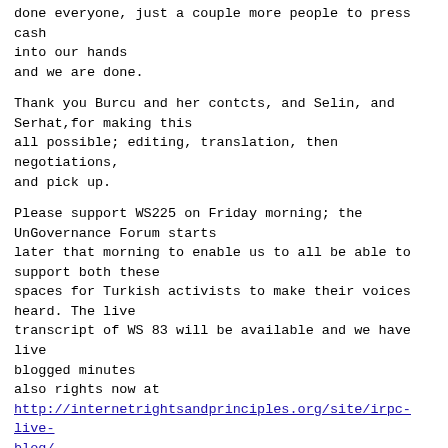done everyone, just a couple more people to press cash into our hands
and we are done.
Thank you Burcu and her contcts, and Selin, and Serhat,for making this
all possible; editing, translation, then negotiations, and pick up.
Please support WS225 on Friday morning; the UnGovernance Forum starts
later that morning to enable us to all be able to support both these
spaces for Turkish activists to make their voices heard. The live
transcript of WS 83 will be available and we have live blogged minutes
also rights now at
http://internetrightsandprinciples.org/site/irpc-live-blog/,
<http://internetrightsandprinciples.org/site/irpc-live-blog/>
Also, the Arabic booklets are here too, and a batch of English booklets.
More about how future printruns can work later for those wanting more.
Thanks all. Tomorrow morning, WS146 for detail and debate about